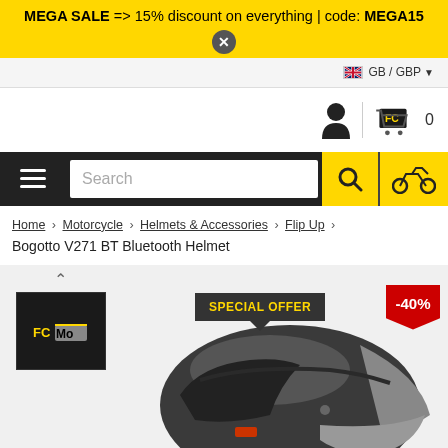MEGA SALE => 15% discount on everything | code: MEGA15
GB / GBP
[Figure (logo): FC Moto cart icon and user icon]
Search
Home › Motorcycle › Helmets & Accessories › Flip Up › Bogotto V271 BT Bluetooth Helmet
[Figure (photo): Bogotto V271 BT Bluetooth Helmet product image with SPECIAL OFFER badge and -40% discount badge. Thumbnail shown on left.]